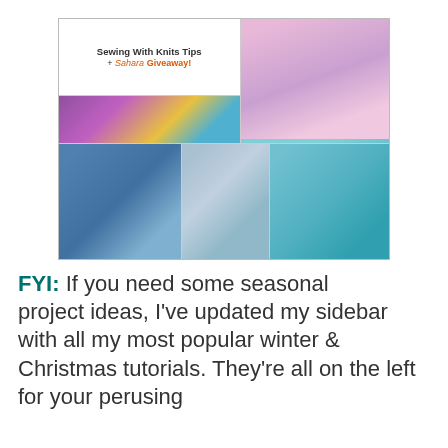[Figure (photo): Collage image titled 'Sewing With Knits Tips + Sahara Fabrics Giveaway!' showing fabric swatches and multiple sewn garments including children's tops and shorts]
FYI: If you need some seasonal project ideas, I've updated my sidebar with all my most popular winter & Christmas tutorials. They're all on the left for your perusing